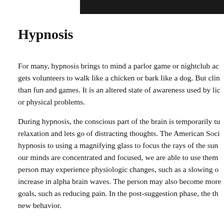[Figure (photo): Dark header bar image at top of page]
Hypnosis
For many, hypnosis brings to mind a parlor game or nightclub ac gets volunteers to walk like a chicken or bark like a dog. But clin than fun and games. It is an altered state of awareness used by lic or physical problems.
During hypnosis, the conscious part of the brain is temporarily tu relaxation and lets go of distracting thoughts. The American Soci hypnosis to using a magnifying glass to focus the rays of the sun our minds are concentrated and focused, we are able to use them person may experience physiologic changes, such as a slowing o increase in alpha brain waves. The person may also become more goals, such as reducing pain. In the post-suggestion phase, the th new behavior.